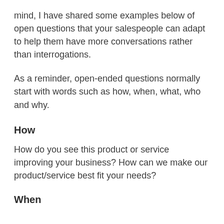mind, I have shared some examples below of open questions that your salespeople can adapt to help them have more conversations rather than interrogations.
As a reminder, open-ended questions normally start with words such as how, when, what, who and why.
How
How do you see this product or service improving your business? How can we make our product/service best fit your needs?
When